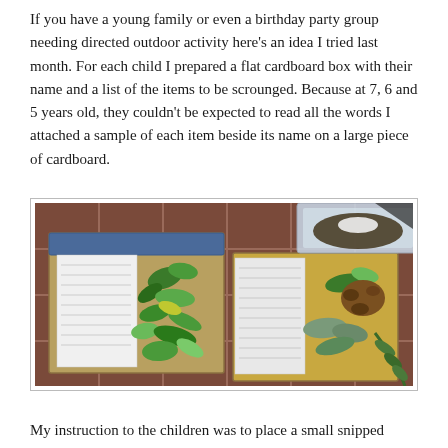If you have a young family or even a birthday party group needing directed outdoor activity here's an idea I tried last month. For each child I prepared a flat cardboard box with their name and a list of the items to be scrounged. Because at 7, 6 and 5 years old, they couldn't be expected to read all the words I attached a sample of each item beside its name on a large piece of cardboard.
[Figure (photo): Overhead photo of two cardboard boxes and a plastic container on a terracotta tile floor, filled with various green plant cuttings and leaves, with paper lists inside the boxes.]
My instruction to the children was to place a small snipped